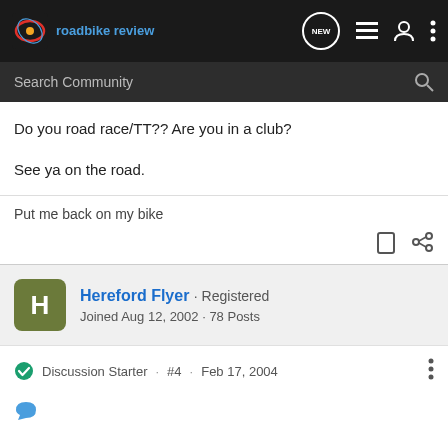[Figure (screenshot): Road Bike Review website navigation bar with logo, NEW chat button, list icon, user icon, and more options icon]
[Figure (screenshot): Search Community search bar with magnifying glass icon]
Do you road race/TT?? Are you in a club?
See ya on the road.
Put me back on my bike
Hereford Flyer · Registered
Joined Aug 12, 2002 · 78 Posts
Discussion Starter · #4 · Feb 17, 2004